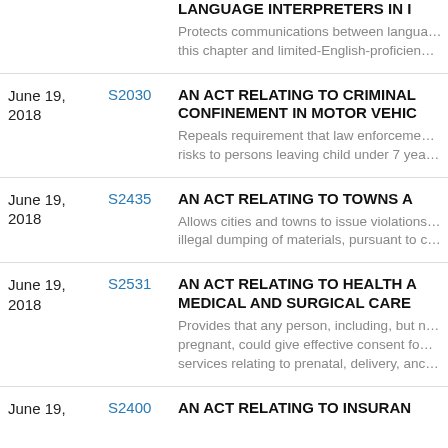LANGUAGE INTERPRETERS IN... Protects communications between language... this chapter and limited-English-proficient...
June 19, 2018 | S2030 | AN ACT RELATING TO CRIMINAL CONFINEMENT IN MOTOR VEHICLES — Repeals requirement that law enforcement... risks to persons leaving child under 7 yea...
June 19, 2018 | S2435 | AN ACT RELATING TO TOWNS A... — Allows cities and towns to issue violations... illegal dumping of materials, pursuant to c...
June 19, 2018 | S2531 | AN ACT RELATING TO HEALTH AND MEDICAL AND SURGICAL CARE — Provides that any person, including, but n... pregnant, could give effective consent for... services relating to prenatal, delivery, and...
June 19, | S2400 | AN ACT RELATING TO INSURAN...